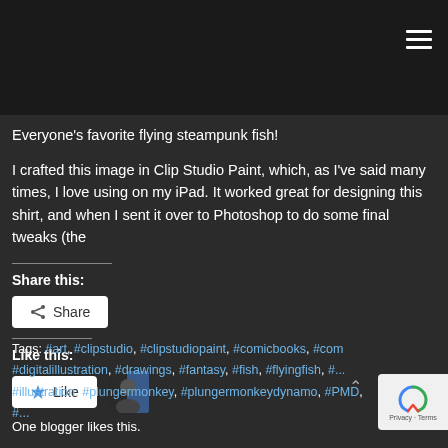Everyone’s favorite flying steampunk fish!
I crafted this image in Clip Studio Paint, which, as I’ve said many times, I love using on my iPad. It worked great for designing this shirt, and when I sent it over to Photoshop to do some final tweaks (the
Share this:
[Figure (screenshot): Share button with share icon]
Like this:
[Figure (screenshot): Like button with star icon and blogger avatar thumbnail]
One blogger likes this.
Tags: #art, #clipstudio, #clipstudiopaint, #comicbooks, #com #digitalillustration, #drawings, #fantasy, #fish, #flyingfish, #... #illustration, #plungermonkey, #plungermonkeydynamo, #PMD, #...